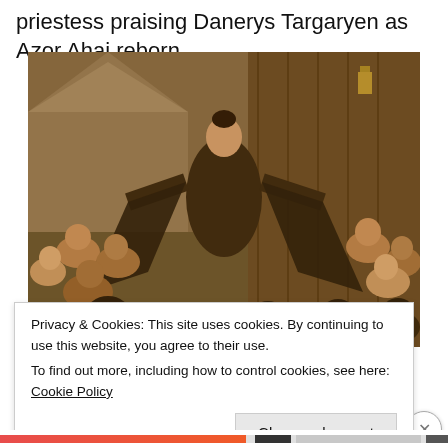priestess praising Danerys Targaryen as Azor Ahai reborn.
[Figure (photo): A woman in dark robes stands with arms outstretched holding a large dark cloth, surrounded by a crowd of people in a medieval/fantasy setting. Scene from Game of Thrones.]
Privacy & Cookies: This site uses cookies. By continuing to use this website, you agree to their use.
To find out more, including how to control cookies, see here: Cookie Policy
Close and accept